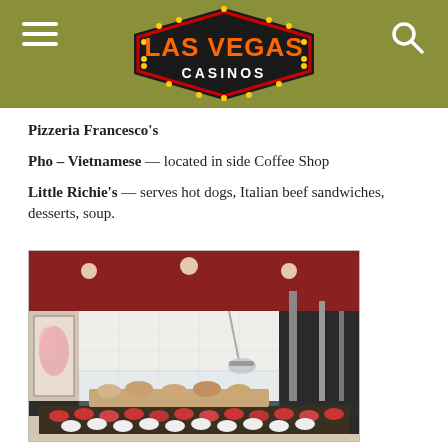LAS VEGAS CASINOS
Pizzeria Francesco's
Pho – Vietnamese — located in side Coffee Shop
Little Richie's — serves hot dogs, Italian beef sandwiches, desserts, soup.
[Figure (photo): Interior view of a restaurant buffet or food counter with a red ceiling, white tile walls, glass sneeze guards, and various food items including desserts and pastries arranged on dark countertops.]